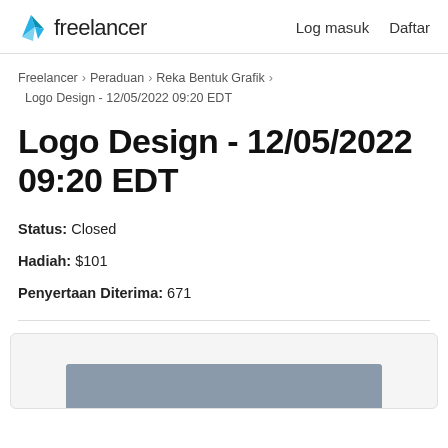[Figure (logo): Freelancer.com logo with cyan origami bird icon and 'freelancer' wordmark]
Log masuk   Daftar
Freelancer › Peraduan › Reka Bentuk Grafik › Logo Design - 12/05/2022 09:20 EDT
Logo Design - 12/05/2022 09:20 EDT
Status: Closed
Hadiah: $101
Penyertaan Diterima: 671
[Figure (screenshot): Partial preview of contest entry image, showing a gray rectangle at the bottom of the page]